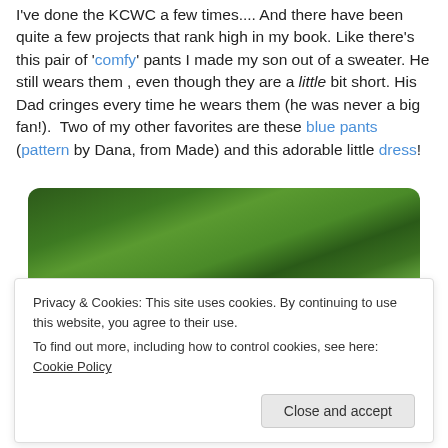I've done the KCWC a few times.... And there have been quite a few projects that rank high in my book. Like there's this pair of 'comfy' pants I made my son out of a sweater. He still wears them , even though they are a little bit short. His Dad cringes every time he wears them (he was never a big fan!).  Two of my other favorites are these blue pants (pattern by Dana, from Made) and this adorable little dress!
[Figure (photo): Outdoor photo showing green foliage/bushes with a child's head (brown hair) visible at lower right, taken in a garden or yard setting.]
Privacy & Cookies: This site uses cookies. By continuing to use this website, you agree to their use.
To find out more, including how to control cookies, see here: Cookie Policy